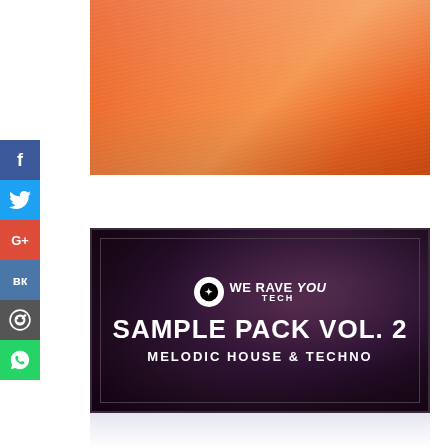[Figure (illustration): Orange brushed metallic rectangle, top portion of a product image]
[Figure (illustration): We Rave You Tech Sample Pack Vol. 2 – Melodic House & Techno product card with dark purple/black silky background, logo at top, large bold white title text]
f
🐦
G+
вк
reddit
whatsapp